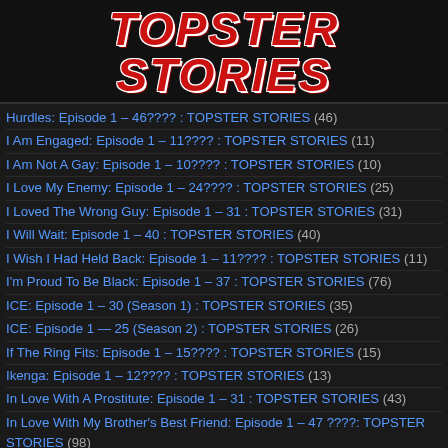TOPSTER STORIES
Hurdles: Episode 1 – 46???? : TOPSTER STORIES (46)
I Am Engaged: Episode 1 – 11???? : TOPSTER STORIES (11)
I Am Not A Gay: Episode 1 – 10???? : TOPSTER STORIES (10)
I Love My Enemy: Episode 1 – 24???? : TOPSTER STORIES (25)
I Loved The Wrong Guy: Episode 1 – 31 : TOPSTER STORIES (31)
I Will Wait: Episode 1 – 40 : TOPSTER STORIES (40)
I Wish I Had Held Back: Episode 1 – 11???? : TOPSTER STORIES (11)
I'm Proud To Be Black: Episode 1 – 37 : TOPSTER STORIES (76)
ICE: Episode 1 – 30 (Season 1) : TOPSTER STORIES (35)
ICE: Episode 1 — 25 (Season 2) : TOPSTER STORIES (26)
If The Ring Fits: Episode 1 – 15???? : TOPSTER STORIES (15)
Ikenga: Episode 1 – 12???? : TOPSTER STORIES (13)
In Love With A Prostitute: Episode 1 – 31 : TOPSTER STORIES (43)
In Love With My Brother's Best Friend: Episode 1 – 47 ????: TOPSTER STORIES (98)
In Love With The Hijabite: Episode 1 – 42???? : TOPSTER STORIES (42)
In Love With The Prostitute: Episode 1 – 11???? : TOPSTER STORIES (11)
In The Billionaire's Bed: Episode 1 – 44???? : TOPSTER STORIES (44)